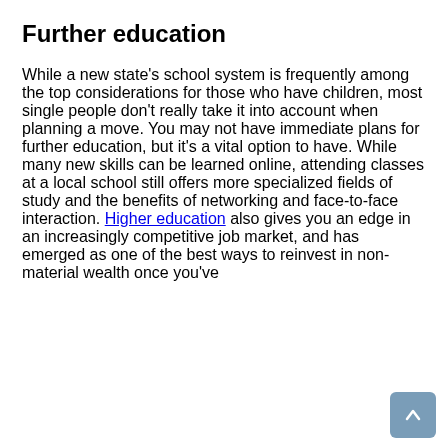Further education
While a new state's school system is frequently among the top considerations for those who have children, most single people don't really take it into account when planning a move. You may not have immediate plans for further education, but it's a vital option to have. While many new skills can be learned online, attending classes at a local school still offers more specialized fields of study and the benefits of networking and face-to-face interaction. Higher education also gives you an edge in an increasingly competitive job market, and has emerged as one of the best ways to reinvest in non-material wealth once you've